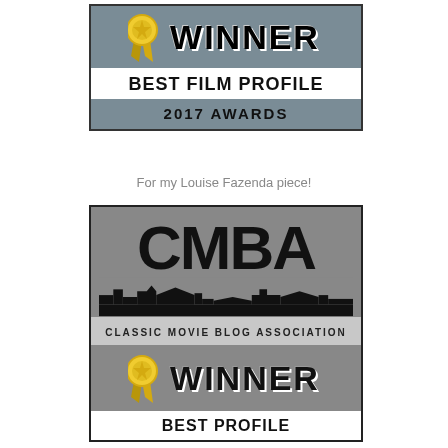[Figure (logo): Award badge: WINNER - BEST FILM PROFILE - 2017 AWARDS with gold ribbon/rosette icon on grey background]
For my Louise Fazenda piece!
[Figure (logo): CMBA (Classic Movie Blog Association) logo with Hollywood sign style lettering and black skyline silhouette, followed by WINNER badge with gold rosette for BEST PROFILE]